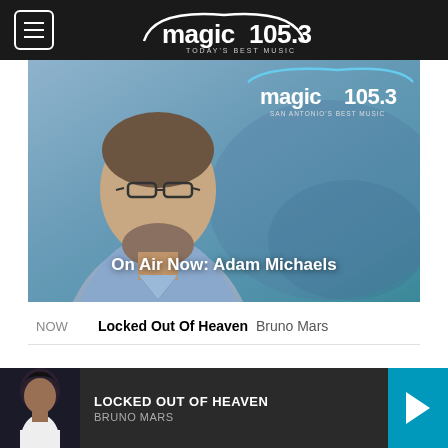magic 105.3 TODAY'S BEST MUSIC
[Figure (photo): Hero banner showing Adam Michaels (radio DJ) with Magic 105.3 San Antonio's Best Music logo overlay and text 'On Air Now: Adam Michaels']
NOW   Locked Out Of Heaven   Bruno Mars
7:38 pm   Numb Little Bug   Em Beihold
[Figure (photo): Bottom player bar showing Bruno Mars artist photo, song title LOCKED OUT OF HEAVEN, artist BRUNO MARS, and a teal play button]
LOCKED OUT OF HEAVEN
BRUNO MARS